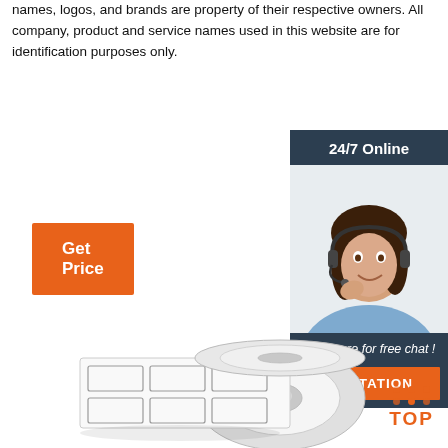names, logos, and brands are property of their respective owners. All company, product and service names used in this website are for identification purposes only.
[Figure (infographic): Orange 'Get Price' button on the left; on the right, a dark blue customer service widget with '24/7 Online' header, photo of smiling woman with headset, 'Click here for free chat!' text, and orange 'QUOTATION' button.]
[Figure (photo): A roll of white labels with rectangular cutouts on a roll, viewed at an angle.]
[Figure (infographic): Orange 'TOP' button with dotted triangle above it in the bottom right corner.]